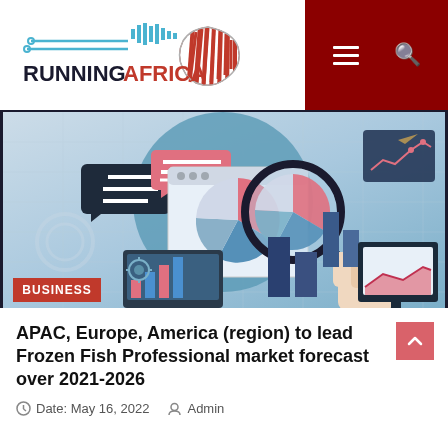RUNNINGAFRICA
[Figure (illustration): Business/market research illustration showing charts, pie chart with magnifying glass, bar charts, laptop with growth chart, and a hand holding a magnifying glass over analytics. Contains a red BUSINESS tag badge in lower left.]
APAC, Europe, America (region) to lead Frozen Fish Professional market forecast over 2021-2026
Date: May 16, 2022   Admin